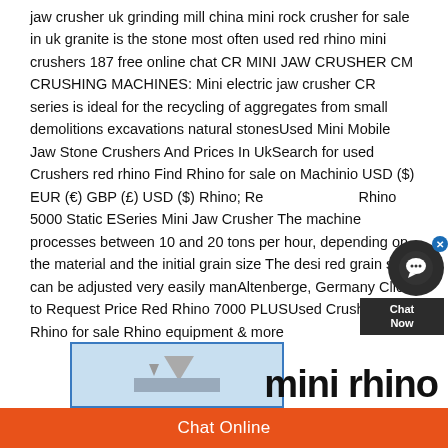jaw crusher uk grinding mill china mini rock crusher for sale in uk granite is the stone most often used red rhino mini crushers 187 free online chat CR MINI JAW CRUSHER CM CRUSHING MACHINES: Mini electric jaw crusher CR series is ideal for the recycling of aggregates from small demolitions excavations natural stonesUsed Mini Mobile Jaw Stone Crushers And Prices In UkSearch for used Crushers red rhino Find Rhino for sale on Machinio USD ($) EUR (€) GBP (£) USD ($) Rhino; Red Rhino 5000 Static ESeries Mini Jaw Crusher The machine processes between 10 and 20 tons per hour, depending on the material and the initial grain size The desi red grain size can be adjusted very easily manAltenberge, Germany Click to Request Price Red Rhino 7000 PLUSUsed Crushers Red Rhino for sale Rhino equipment & more
[Figure (screenshot): Chat widget overlay showing a chat bubble icon with X button and 'Chat Now' label in dark background]
[Figure (photo): Thumbnail image of mini rhino crusher equipment with blue border]
mini rhino
Chat Online